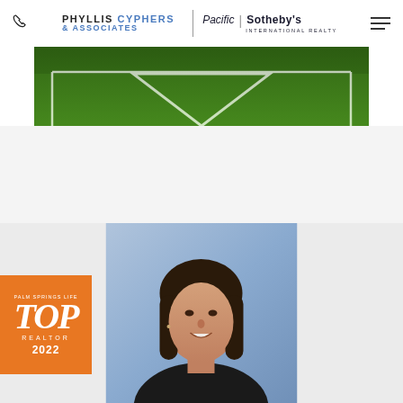Phyllis Cyphers & Associates | Pacific Sotheby's International Realty
[Figure (photo): Aerial or close-up view of a tennis court showing white court lines on green surface]
[Figure (photo): Professional headshot of a woman with dark brown shoulder-length hair, smiling, wearing a dark top, blue/purple background]
[Figure (other): Palm Springs Life Top Realtor 2022 badge/award seal in orange]